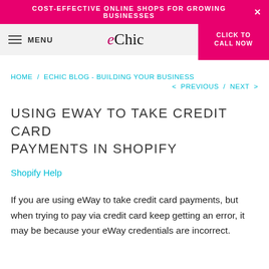COST-EFFECTIVE ONLINE SHOPS FOR GROWING BUSINESSES ×
≡ MENU  eChic  CLICK TO CALL NOW
HOME / ECHIC BLOG - BUILDING YOUR BUSINESS
< PREVIOUS / NEXT >
USING EWAY TO TAKE CREDIT CARD PAYMENTS IN SHOPIFY
Shopify Help
If you are using eWay to take credit card payments, but when trying to pay via credit card keep getting an error, it may be because your eWay credentials are incorrect.